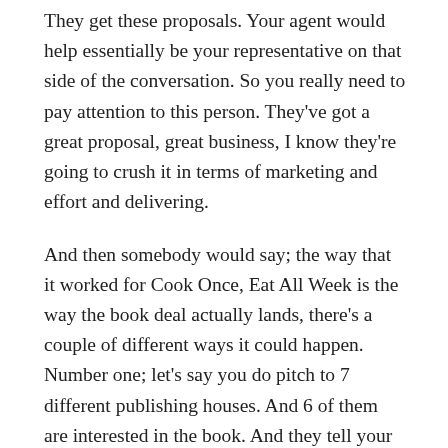They get these proposals. Your agent would help essentially be your representative on that side of the conversation. So you really need to pay attention to this person. They've got a great proposal, great business, I know they're going to crush it in terms of marketing and effort and delivering.
And then somebody would say; the way that it worked for Cook Once, Eat All Week is the way the book deal actually lands, there's a couple of different ways it could happen. Number one; let's say you do pitch to 7 different publishing houses. And 6 of them are interested in the book. And they tell your agent, "I'm interested in publishing this book." And if that's the case, at this point, for Cook Once, Eat All Week I flew to New York. All of these publishing houses have a presence in New York City. So I flew to New York City, met with my agent. And she walked me around. I think we were there for two full days to all of these different meetings with these publishing houses, and we met with all of these editors. The ones who